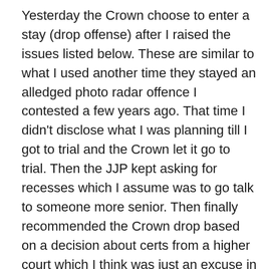Yesterday the Crown choose to enter a stay (drop offense) after I raised the issues listed below. These are similar to what I used another time they stayed an alledged photo radar offence I contested a few years ago. That time I didn't disclose what I was planning till I got to trial and the Crown let it go to trial. Then the JJP kept asking for recesses which I assume was to go talk to someone more senior. Then finally recommended the Crown drop based on a decision about certs from a higher court which I think was just an excuse in case I brought the same facts or arguments to appeals court.
This time I contacted the Crown in advance with the following but he ignored till I contacted him again the day before triak and he called me to discuss my arguments. He didn't say he would enter a stay to the offence on the phone or by email and waited for me to show up. He was